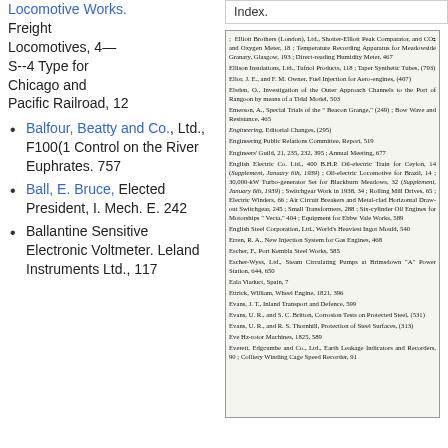Locomotive Works. Freight Locomotives, 4—S--4 Type for Chicago and Pacific Railroad, 12
Balfour, Beatty and Co., Ltd., F100(1 Control on the River Euphrates. 757
Ball, E. Bruce, Elected President, I. Mech. E. 242
Ballantine Sensitive Electronic Voltmeter. Leland Instruments Ltd., 117
Index.
[Figure (other): Scanned index page listing entries from Elliott Brothers through Everett, Edgcumbe and Co., Ltd., with page references for engineering topics and companies.]